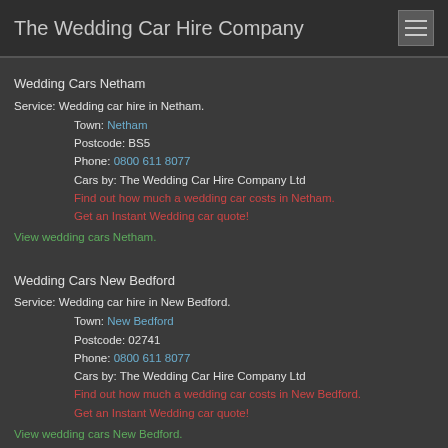The Wedding Car Hire Company
Wedding Cars Netham
Service: Wedding car hire in Netham.
Town: Netham
Postcode: BS5
Phone: 0800 611 8077
Cars by: The Wedding Car Hire Company Ltd
Find out how much a wedding car costs in Netham. Get an Instant Wedding car quote!
View wedding cars Netham.
Wedding Cars New Bedford
Service: Wedding car hire in New Bedford.
Town: New Bedford
Postcode: 02741
Phone: 0800 611 8077
Cars by: The Wedding Car Hire Company Ltd
Find out how much a wedding car costs in New Bedford. Get an Instant Wedding car quote!
View wedding cars New Bedford.